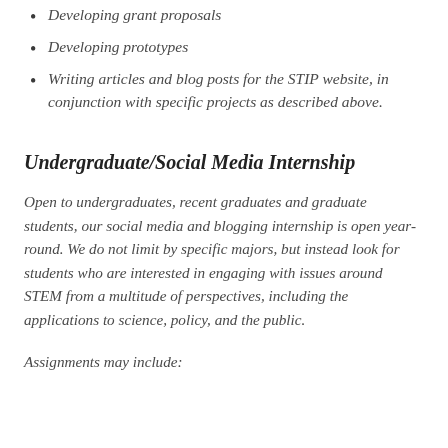Developing grant proposals
Developing prototypes
Writing articles and blog posts for the STIP website, in conjunction with specific projects as described above.
Undergraduate/Social Media Internship
Open to undergraduates, recent graduates and graduate students, our social media and blogging internship is open year-round. We do not limit by specific majors, but instead look for students who are interested in engaging with issues around STEM from a multitude of perspectives, including the applications to science, policy, and the public.
Assignments may include: